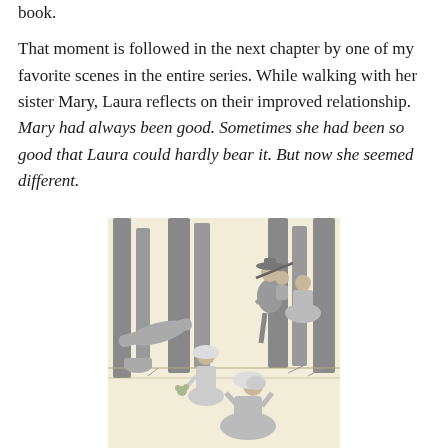book.
That moment is followed in the next chapter by one of my favorite scenes in the entire series. While walking with her sister Mary, Laura reflects on their improved relationship. Mary had always been good. Sometimes she had been so good that Laura could hardly bear it. But now she seemed different.
[Figure (illustration): A pencil/ink illustration showing a pioneer family scene in a forest. A man with a hat carries a long rifle over his shoulder and has a child on his back. In the foreground, two girls in bonnets and pioneer dresses are shown, one holding flowers, the other turned toward the viewer.]